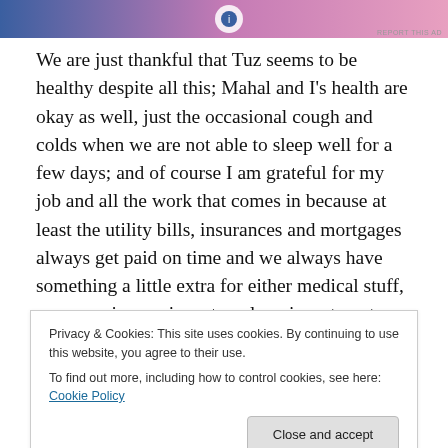[Figure (other): Advertisement banner with gradient background (blue to pink) and a circular icon]
We are just thankful that Tuz seems to be healthy despite all this; Mahal and I's health are okay as well, just the occasional cough and colds when we are not able to sleep well for a few days; and of course I am grateful for my job and all the work that comes in because at least the utility bills, insurances and mortgages always get paid on time and we always have something a little extra for either medical stuff, emergencies, savings, travels or investments. So with that, we are grateful despite the fact
Privacy & Cookies: This site uses cookies. By continuing to use this website, you agree to their use.
To find out more, including how to control cookies, see here: Cookie Policy
been sleep-deprived the whole week before the